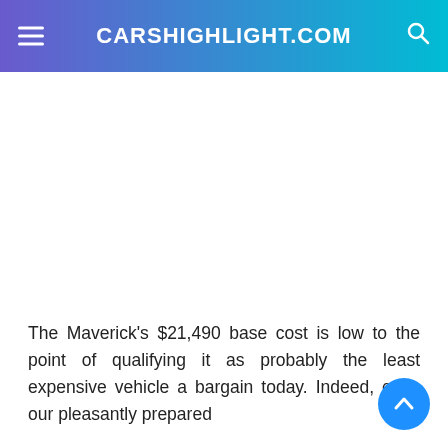CARSHIGHLIGHT.COM
The Maverick's $21,490 base cost is low to the point of qualifying it as probably the least expensive vehicle a bargain today. Indeed, even our pleasantly prepared